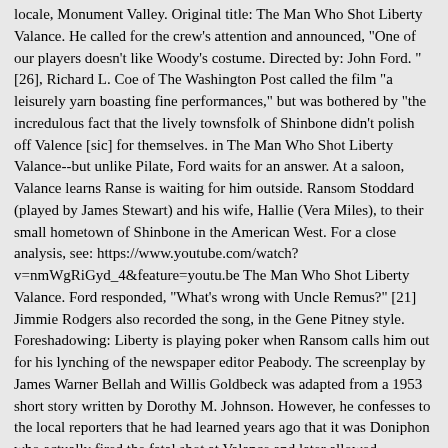locale, Monument Valley. Original title: The Man Who Shot Liberty Valance. He called for the crew's attention and announced, "One of our players doesn't like Woody's costume. Directed by: John Ford. "[26], Richard L. Coe of The Washington Post called the film "a leisurely yarn boasting fine performances," but was bothered by "the incredulous fact that the lively townsfolk of Shinbone didn't polish off Valence [sic] for themselves. in The Man Who Shot Liberty Valance--but unlike Pilate, Ford waits for an answer. At a saloon, Valance learns Ranse is waiting for him outside. Ransom Stoddard (played by James Stewart) and his wife, Hallie (Vera Miles), to their small hometown of Shinbone in the American West. For a close analysis, see: https://www.youtube.com/watch?v=nmWgRiGyd_4&feature=youtu.be The Man Who Shot Liberty Valance. Ford responded, "What's wrong with Uncle Remus?" [21] Jimmie Rodgers also recorded the song, in the Gene Pitney style. Foreshadowing: Liberty is playing poker when Ransom calls him out for his lynching of the newspaper editor Peabody. The screenplay by James Warner Bellah and Willis Goldbeck was adapted from a 1953 short story written by Dorothy M. Johnson. However, he confesses to the local reporters that he had learned years ago that it was Doniphon who actually fired the fatal shot at Valance and later allowed Stoddard to be credited with the deed. What should have been left to enthrall the imagination is spelled out